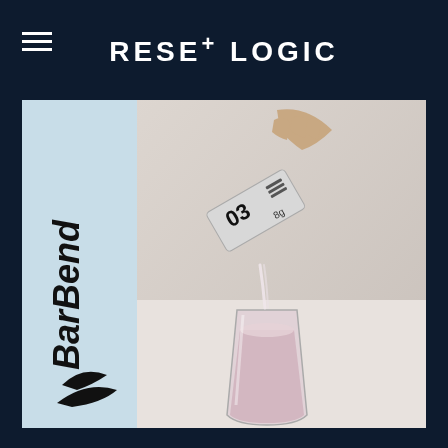RESE+ LOGIC
[Figure (photo): Photo showing a hand pouring a powder packet into a glass of pink liquid. The left side has a light blue panel with the BarBend logo in bold italic text with a stylized icon. The right side shows the product being poured into a glass tumbler with a pinkish drink, on a light grey/white surface.]